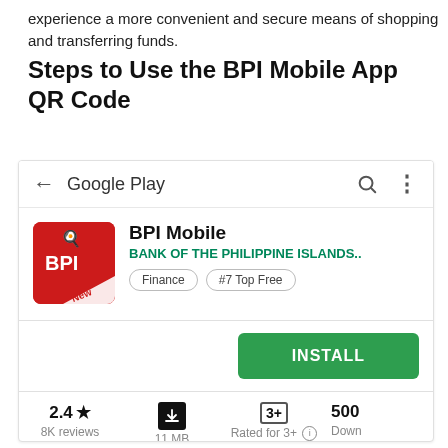experience a more convenient and secure means of shopping and transferring funds.
Steps to Use the BPI Mobile App QR Code
[Figure (screenshot): Google Play Store listing for BPI Mobile app by Bank of the Philippine Islands. Shows app icon (red BPI logo), app name 'BPI Mobile', developer 'BANK OF THE PHILIPPINE ISLANDS..', tags 'Finance' and '#7 Top Free', an INSTALL button, and stats: 2.4 star rating with 8K reviews, 11 MB size, Rated for 3+, and 500+ downloads.]